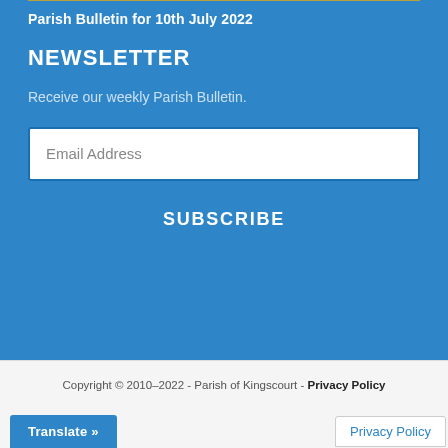Parish Bulletin for 10th July 2022
NEWSLETTER
Receive our weekly Parish Bulletin.
Email Address
SUBSCRIBE
Copyright © 2010-2022 - Parish of Kingscourt - Privacy Policy
Translate »
Privacy Policy